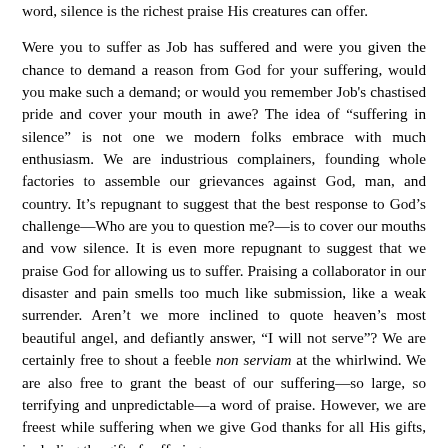word, silence is the richest praise His creatures can offer.
Were you to suffer as Job has suffered and were you given the chance to demand a reason from God for your suffering, would you make such a demand; or would you remember Job's chastised pride and cover your mouth in awe? The idea of “suffering in silence” is not one we modern folks embrace with much enthusiasm. We are industrious complainers, founding whole factories to assemble our grievances against God, man, and country. It’s repugnant to suggest that the best response to God’s challenge—Who are you to question me?—is to cover our mouths and vow silence. It is even more repugnant to suggest that we praise God for allowing us to suffer. Praising a collaborator in our disaster and pain smells too much like submission, like a weak surrender. Aren’t we more inclined to quote heaven’s most beautiful angel, and defiantly answer, “I will not serve”? We are certainly free to shout a feeble non serviam at the whirlwind. We are also free to grant the beast of our suffering—so large, so terrifying and unpredictable—a word of praise. However, we are freest while suffering when we give God thanks for all His gifts, including the gift of suffering.